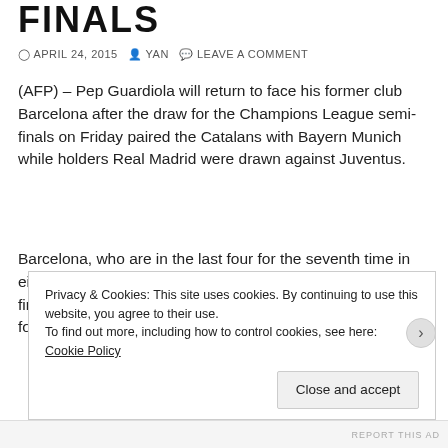FINALS
APRIL 24, 2015  YAN  LEAVE A COMMENT
(AFP) – Pep Guardiola will return to face his former club Barcelona after the draw for the Champions League semi-finals on Friday paired the Catalans with Bayern Munich while holders Real Madrid were drawn against Juventus.
Barcelona, who are in the last four for the seventh time in eight seasons, will be at home to the Bundesliga side in the first leg on May 5 or 6 with the return at the Allianz Arena the following week.
Privacy & Cookies: This site uses cookies. By continuing to use this website, you agree to their use. To find out more, including how to control cookies, see here: Cookie Policy  Close and accept